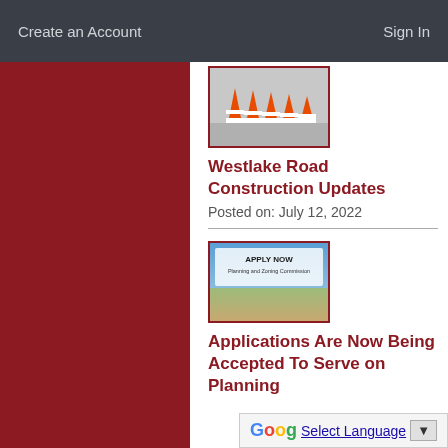Create an Account    Sign In
[Figure (photo): Orange and white traffic cones/barrels lined up on a road surface]
Westlake Road Construction Updates
Posted on: July 12, 2022
[Figure (photo): Apply Now - Planning and Zoning Commission banner with outdoor scene]
Applications Are Now Being Accepted To Serve on Planning